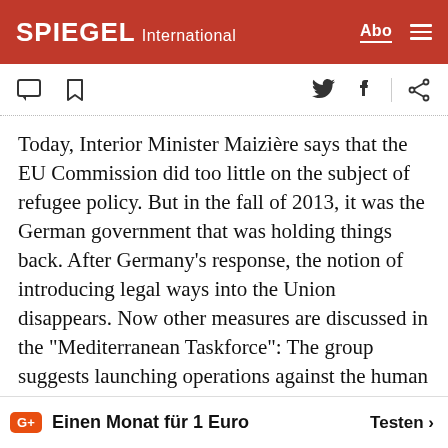SPIEGEL International
Today, Interior Minister Maizière says that the EU Commission did too little on the subject of refugee policy. But in the fall of 2013, it was the German government that was holding things back. After Germany's response, the notion of introducing legal ways into the Union disappears. Now other measures are discussed in the "Mediterranean Taskforce": The group suggests launching operations against the human traffickers and monitoring the borders more strongly.
The EU had previously r... neighboring countries
Einen Monat für 1 Euro  Testen >